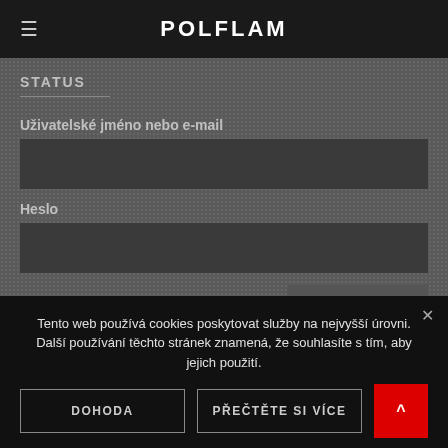POLFLAM
STATUS
Uživatelské jméno nebo e-mail
Heslo
Zapomněli jste?  Registrovat se
PŘIHLÁSIT SE
Tento web používá cookies poskytovat služby na nejvyšší úrovni. Další používání těchto stránek znamená, že souhlasíte s tím, aby jejich použití.
DOHODA
PŘEČTĚTE SI VÍCE